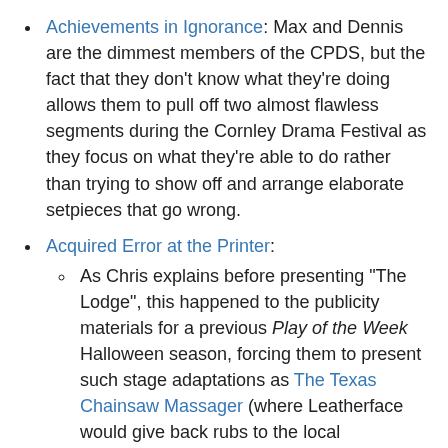Achievements in Ignorance: Max and Dennis are the dimmest members of the CPDS, but the fact that they don't know what they're doing allows them to pull off two almost flawless segments during the Cornley Drama Festival as they focus on what they're able to do rather than trying to show off and arrange elaborate setpieces that go wrong.
Acquired Error at the Printer:
As Chris explains before presenting "The Lodge", this happened to the publicity materials for a previous Play of the Week Halloween season, forcing them to present such stage adaptations as The Texas Chainsaw Massager (where Leatherface would give back rubs to the local community), as well as a pajama-based production of Nightwear On Elm Street.
The sign Chris commissioned for the Cornley Drama Festival, as shown in Part 1, misspelled the last word